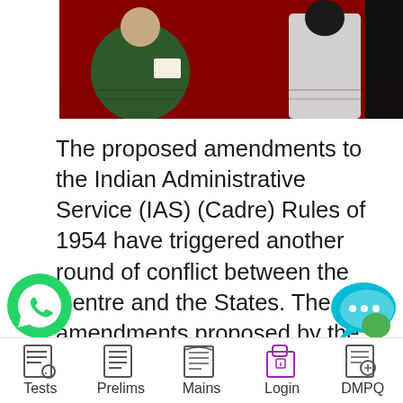[Figure (photo): Photo of people seated in a formal meeting/interview setting, with a red patterned carpet visible. A person in a green saree is on the left and a person in white on the right.]
The proposed amendments to the Indian Administrative Service (IAS) (Cadre) Rules of 1954 have triggered another round of conflict between the Centre and the States. The amendments proposed by the Department of Personnel and Training, Government of India, will take away the liberty of the States to deny consent for handing over civil servants for ... Read more
[Figure (logo): YouTube play button logo (red rectangle with white triangle)]
[Figure (logo): WhatsApp green phone icon]
[Figure (logo): Chat/messaging cyan speech bubble icon with three dots]
Tests   Prelims   Mains   Login   DMPQ